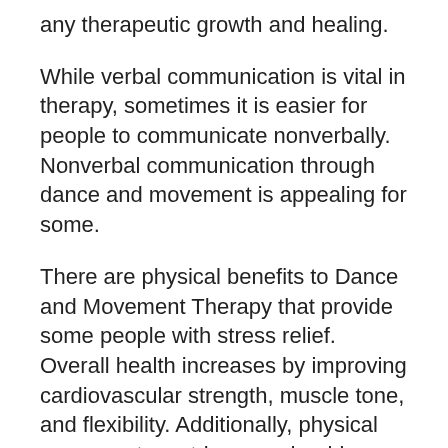any therapeutic growth and healing.
While verbal communication is vital in therapy, sometimes it is easier for people to communicate nonverbally. Nonverbal communication through dance and movement is appealing for some.
There are physical benefits to Dance and Movement Therapy that provide some people with stress relief. Overall health increases by improving cardiovascular strength, muscle tone, and flexibility. Additionally, physical movement can trigger endorphins that enhance overall mood. The physical and emotional aspects come together in Dance and Movement Therapy to promote the integration of the whole self.